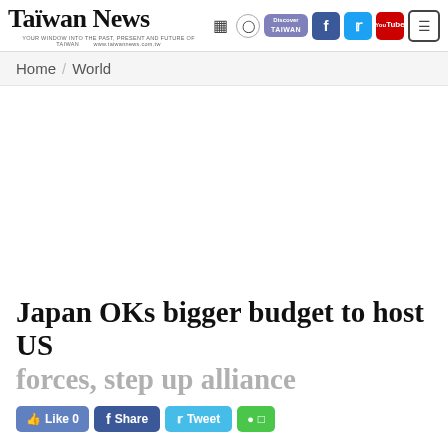Taiwan News
Home / World
Japan OKs bigger budget to host US forces, step up alliance
Like 0  Share  Tweet  Line